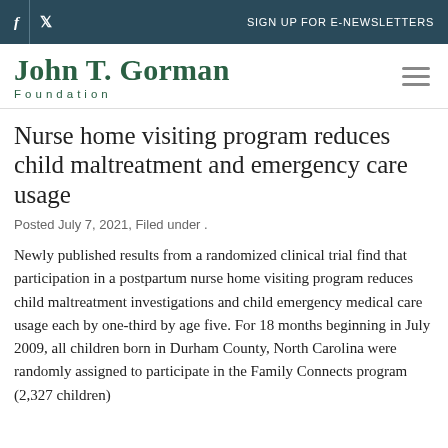f  |  🐦  SIGN UP FOR E-NEWSLETTERS
JOHN T. GORMAN FOUNDATION
Nurse home visiting program reduces child maltreatment and emergency care usage
Posted July 7, 2021, Filed under .
Newly published results from a randomized clinical trial find that participation in a postpartum nurse home visiting program reduces child maltreatment investigations and child emergency medical care usage each by one-third by age five. For 18 months beginning in July 2009, all children born in Durham County, North Carolina were randomly assigned to participate in the Family Connects program (2,327 children)